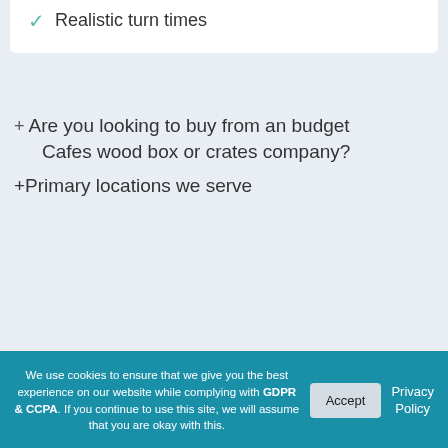✓ Realistic turn times
Are you looking to buy from an budget Cafes wood box or crates company?
+Primary locations we serve
We use cookies to ensure that we give you the best experience on our website while complying with GDPR & CCPA. If you continue to use this site, we will assume that you are okay with this.